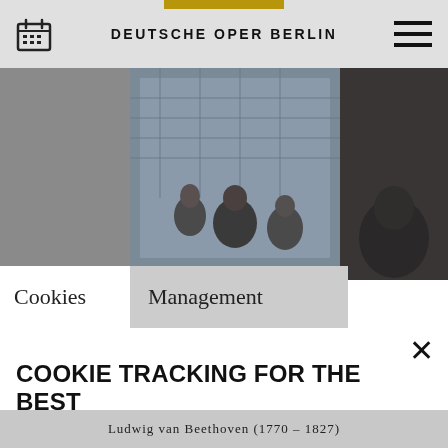DEUTSCHE OPER BERLIN
[Figure (screenshot): Hero image showing performers on stage in front of a large building facade, split into three sections: dark left panel, center with figures in costumes, darker right panel]
Cookies
Management
COOKIE TRACKING FOR THE BEST DEUTSCHE OPER BERLIN EXPERIENCE
By selecting "Accept necessary cookies" you allow Deutsche Oper Berlin to use technically necessary cookies, pixels, tags and similar technologies. Selecting
Ludwig van Beethoven (1770 – 1827)